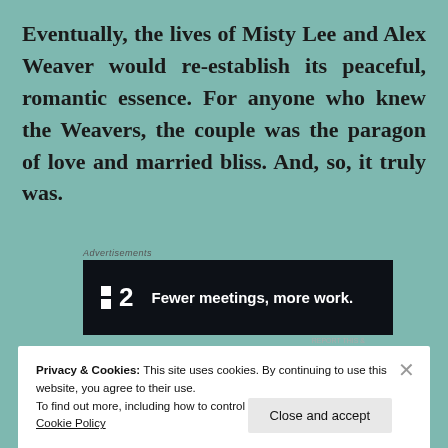Eventually, the lives of Misty Lee and Alex Weaver would re-establish its peaceful, romantic essence. For anyone who knew the Weavers, the couple was the paragon of love and married bliss. And, so, it truly was.
Advertisements
[Figure (other): Dark advertisement banner for a product called '2' with tagline 'Fewer meetings, more work.' White logo squares and bold white text on black background.]
Privacy & Cookies: This site uses cookies. By continuing to use this website, you agree to their use.
To find out more, including how to control cookies, see here:
Cookie Policy